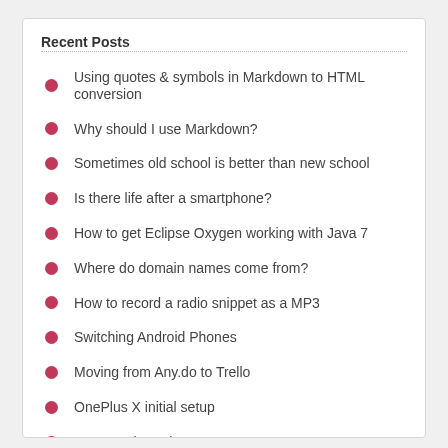Recent Posts
Using quotes & symbols in Markdown to HTML conversion
Why should I use Markdown?
Sometimes old school is better than new school
Is there life after a smartphone?
How to get Eclipse Oxygen working with Java 7
Where do domain names come from?
How to record a radio snippet as a MP3
Switching Android Phones
Moving from Any.do to Trello
OnePlus X initial setup
JQL & Subqueries